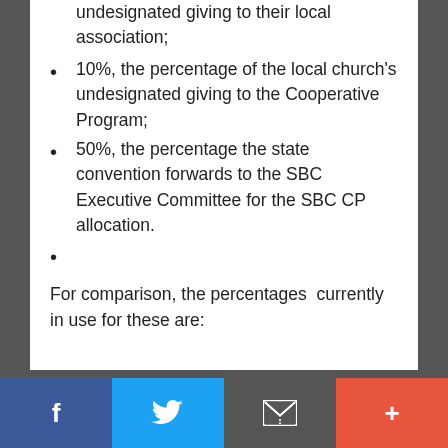undesignated giving to their local association;
10%, the percentage of the local church's undesignated giving to the Cooperative Program;
50%, the percentage the state convention forwards to the SBC Executive Committee for the SBC CP allocation.
For comparison, the percentages  currently in use for these are: